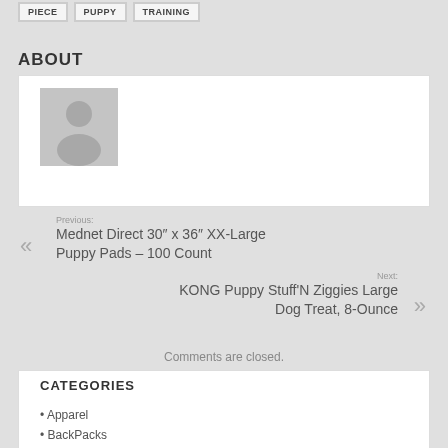PIECE
PUPPY
TRAINING
ABOUT
[Figure (illustration): Default user avatar placeholder image showing a silhouette of a person on grey background]
Previous: Mednet Direct 30″ x 36″ XX-Large Puppy Pads – 100 Count
Next: KONG Puppy Stuff'N Ziggies Large Dog Treat, 8-Ounce
Comments are closed.
CATEGORIES
Apparel
BackPacks